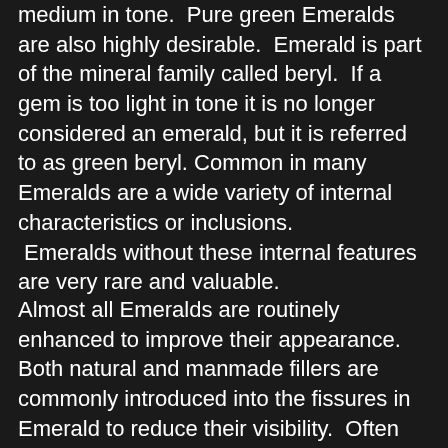medium in tone. Pure green Emeralds are also highly desirable. Emerald is part of the mineral family called beryl. If a gem is too light in tone it is no longer considered an emerald, but it is referred to as green beryl. Common in many Emeralds are a wide variety of internal characteristics or inclusions. Emeralds without these internal features are very rare and valuable.
Almost all Emeralds are routinely enhanced to improve their appearance. Both natural and manmade fillers are commonly introduced into the fissures in Emerald to reduce their visibility. Often referred to as oiling or infilling, it has become a standard...